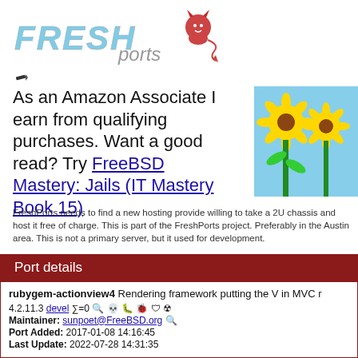[Figure (logo): FreshPorts logo with stylized text 'FRESH ports' and a cartoon devil mascot]
[Figure (illustration): Small pencil/pen icon]
As an Amazon Associate I earn from qualifying purchases. Want a good read? Try FreeBSD Mastery: Jails (IT Mastery Book 15)
[Figure (photo): Photo of sunflowers in a field against blue sky]
FreshPorts needs to find a new hosting provide willing to take a 2U chassis and host it free of charge. This is part of the FreshPorts project. Preferably in the Austin area. This is not a primary server, but it used for development.
Port details
rubygem-actionview4 Rendering framework putting the V in MVC
4.2.11.3 devel ∑=0
Maintainer: sunpoet@FreeBSD.org
Port Added: 2017-01-08 14:16:45
Last Update: 2022-07-28 14:31:35